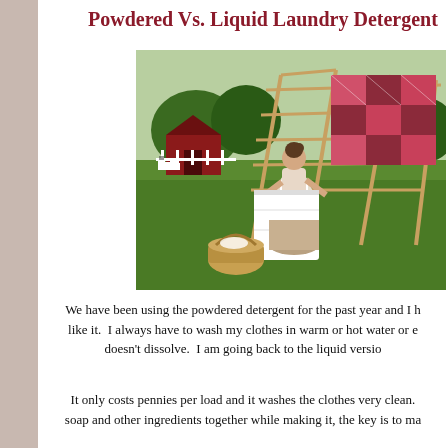Powdered Vs. Liquid Laundry Detergent
[Figure (photo): Woman in white dress hanging laundry on a wooden drying rack in a green field, with a red barn in the background and a wicker basket on the ground.]
We have been using the powdered detergent for the past year and I h like it.  I always have to wash my clothes in warm or hot water or e doesn't dissolve.  I am going back to the liquid versio
It only costs pennies per load and it washes the clothes very clean. soap and other ingredients together while making it, the key is to ma